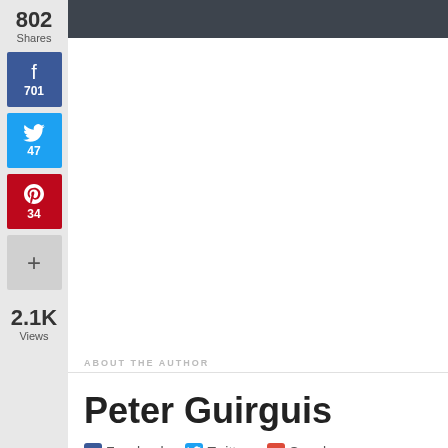802 Shares
[Figure (infographic): Facebook share button with count 701]
[Figure (infographic): Twitter share button with count 47]
[Figure (infographic): Pinterest share button with count 34]
+
2.1K Views
ABOUT THE AUTHOR
Peter Guirguis
Facebook  Twitter  Google+